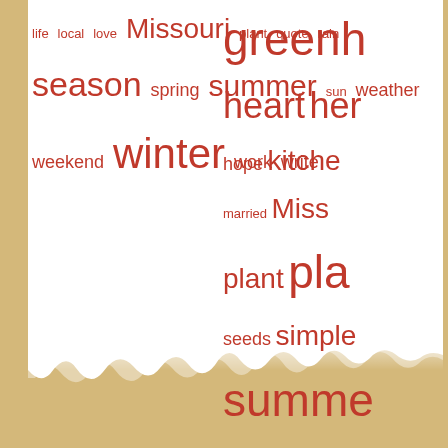[Figure (infographic): Word cloud on a torn paper / scrapbook background. Left column words: life, local, love, Missouri, plant, quote, rain, season, spring, summer, sun, weather, weekend, winter, work, write. Right column words (partially clipped): green[house], heart, her[b], hope, kitche[n], married, Miss[ouri], plant, pla[n], seeds, simple, summe[r], trees, vegetable[s], work, write. Background is tan/gold with a white torn paper effect.]